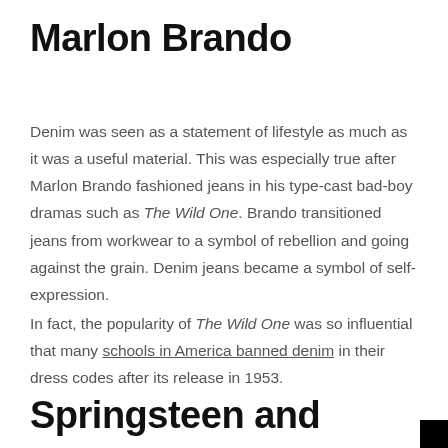Marlon Brando
Denim was seen as a statement of lifestyle as much as it was a useful material. This was especially true after Marlon Brando fashioned jeans in his type-cast bad-boy dramas such as The Wild One. Brando transitioned jeans from workwear to a symbol of rebellion and going against the grain. Denim jeans became a symbol of self-expression.
In fact, the popularity of The Wild One was so influential that many schools in America banned denim in their dress codes after its release in 1953.
Springsteen and